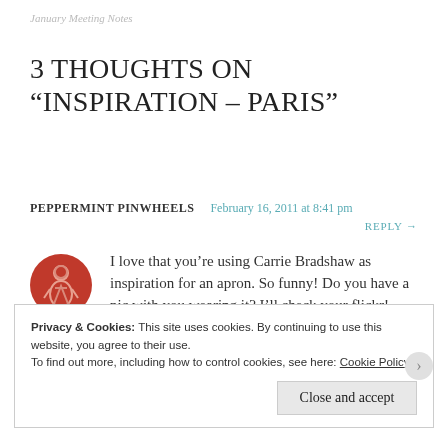January Meeting Notes
3 THOUGHTS ON “INSPIRATION – PARIS”
PEPPERMINT PINWHEELS   February 16, 2011 at 8:41 pm   REPLY →
I love that you’re using Carrie Bradshaw as inspiration for an apron. So funny! Do you have a pic with you wearing it? I’ll check your flickr!
Privacy & Cookies: This site uses cookies. By continuing to use this website, you agree to their use.
To find out more, including how to control cookies, see here: Cookie Policy
Close and accept